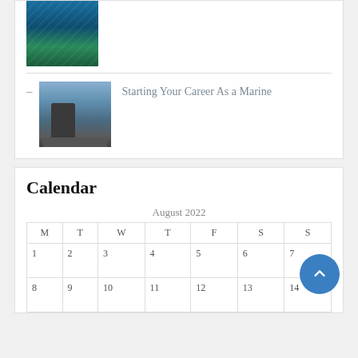[Figure (photo): Underwater scene with blue water and marine life]
[Figure (photo): Military naval vessel or submarine with industrial structures against a blue sky]
Starting Your Career As a Marine
Calendar
August 2022
| M | T | W | T | F | S | S |
| --- | --- | --- | --- | --- | --- | --- |
| 1 | 2 | 3 | 4 | 5 | 6 | 7 |
| 8 | 9 | 10 | 11 | 12 | 13 | 14 |